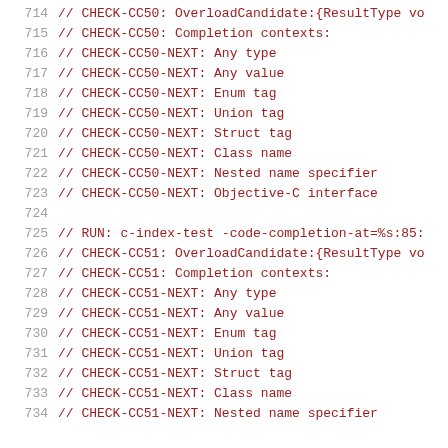[Figure (screenshot): Source code viewer showing lines 714-734 of a C/C++ test file. Each line shows a line number in gray on the left and code text in dark red on the right. The code consists of comments with CHECK directives for code completion testing. Lines 714-723 test CC50 checks, line 724 is blank, and lines 725-734 test CC51 checks.]